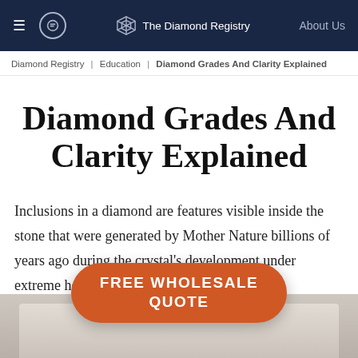≡  ◎  The Diamond Registry  About Us
Diamond Registry | Education | Diamond Grades And Clarity Explained
Diamond Grades And Clarity Explained
Inclusions in a diamond are features visible inside the stone that were generated by Mother Nature billions of years ago during the crystal's development under extreme heat and pressure.
[Figure (screenshot): Orange pill-shaped CTA button with text FREE WHOLESALE QUOTE, overlaid on a product image strip at the bottom of the page]